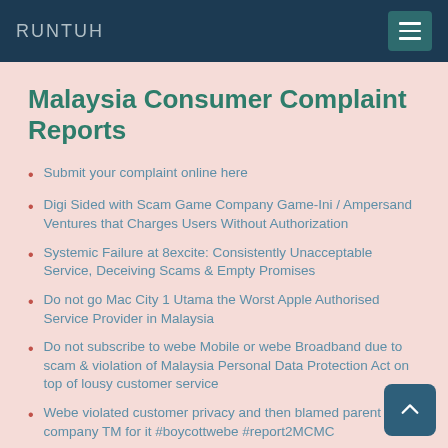RUNTUH
Malaysia Consumer Complaint Reports
Submit your complaint online here
Digi Sided with Scam Game Company Game-Ini / Ampersand Ventures that Charges Users Without Authorization
Systemic Failure at 8excite: Consistently Unacceptable Service, Deceiving Scams & Empty Promises
Do not go Mac City 1 Utama the Worst Apple Authorised Service Provider in Malaysia
Do not subscribe to webe Mobile or webe Broadband due to scam & violation of Malaysia Personal Data Protection Act on top of lousy customer service
Webe violated customer privacy and then blamed parent company TM for it #boycottwebe #report2MCMC
Webe Mobile misleading scam marketing on Facebook